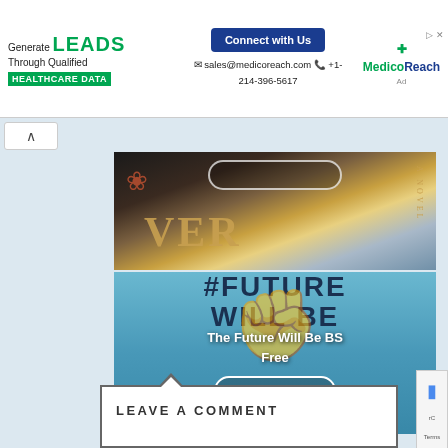[Figure (screenshot): MedicoReach advertisement banner with green and blue branding. Shows 'Generate LEADS Through Qualified HEALTHCARE DATA' on left, 'Connect with Us' button and contact info in center (sales@medicoreach.com, +1-214-396-5617), and MedicoReach logo on right.]
[Figure (photo): Partial book cover with floral design and golden letters partially visible, showing 'VER' and 'A NOVEL' text. Dark and gold tones.]
[Figure (photo): Book cover for 'The Future Will Be BS Free' with bold dark text on teal/blue background, a red fist graphic overlaid, and a white 'VIEW POST' button.]
The Future Will Be BS Free
VIEW POST
LEAVE A COMMENT